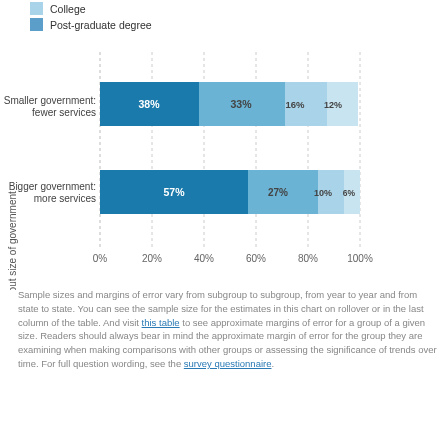[Figure (stacked-bar-chart): Views about size of government]
Sample sizes and margins of error vary from subgroup to subgroup, from year to year and from state to state. You can see the sample size for the estimates in this chart on rollover or in the last column of the table. And visit this table to see approximate margins of error for a group of a given size. Readers should always bear in mind the approximate margin of error for the group they are examining when making comparisons with other groups or assessing the significance of trends over time. For full question wording, see the survey questionnaire.